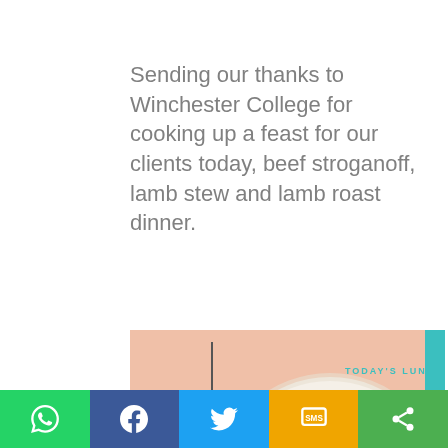Sending our thanks to Winchester College for cooking up a feast for our clients today, beef stroganoff, lamb stew and lamb roast dinner.
[Figure (photo): Promotional food card with a pink/salmon background showing a plate of Beef Stroganoff with rice. Text 'TODAY'S LUNCH' in teal at top right, and 'Beef Stroganoff' in large yellow italic bold font at bottom left. A vertical black line divider is visible on the left side. A teal vertical accent bar on the right edge.]
WhatsApp | Facebook | Twitter | SMS | Share